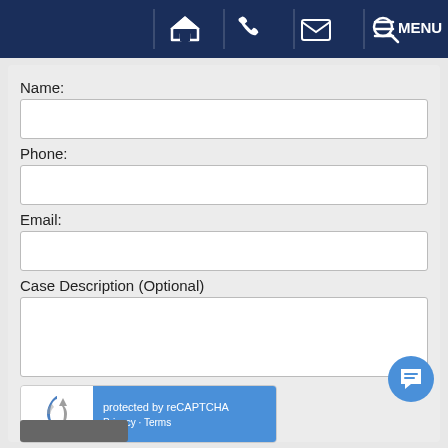[Figure (screenshot): Navigation bar with home, phone, email, search, and menu icons on dark navy background]
Name:
Phone:
Email:
Case Description (Optional)
[Figure (screenshot): reCAPTCHA widget showing logo and 'protected by reCAPTCHA' with Privacy and Terms links]
[Figure (other): Blue circular chat button with message icon]